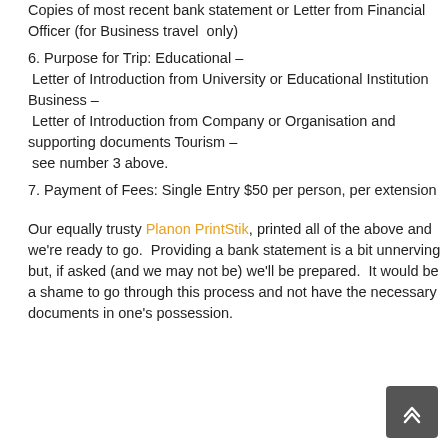Copies of most recent bank statement or Letter from Financial Officer (for Business travel only)
6. Purpose for Trip: Educational – Letter of Introduction from University or Educational Institution Business – Letter of Introduction from Company or Organisation and supporting documents Tourism – see number 3 above.
7. Payment of Fees: Single Entry $50 per person, per extension
Our equally trusty Planon PrintStik, printed all of the above and we're ready to go.  Providing a bank statement is a bit unnerving but, if asked (and we may not be) we'll be prepared.  It would be a shame to go through this process and not have the necessary documents in one's possession.